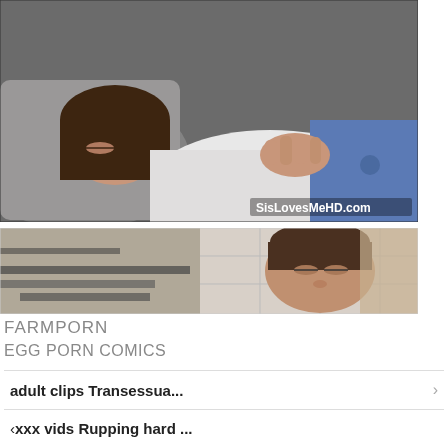[Figure (screenshot): Screenshot of a video thumbnail showing a person lying on a couch with watermark SisLovesMeHD.com]
[Figure (screenshot): Screenshot of a second video thumbnail showing a person's face]
FARMPORN
EGG PORN COMICS
adult clips Transessua...
xxx vids Rupping hard ...